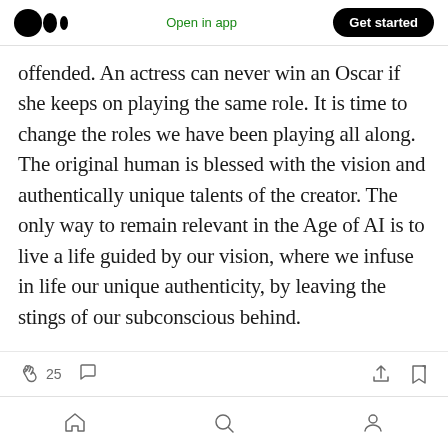Medium logo | Open in app | Get started
offended. An actress can never win an Oscar if she keeps on playing the same role. It is time to change the roles we have been playing all along. The original human is blessed with the vision and authentically unique talents of the creator. The only way to remain relevant in the Age of AI is to live a life guided by our vision, where we infuse in life our unique authenticity, by leaving the stings of our subconscious behind.
25 | comment | share | save | home | search | profile